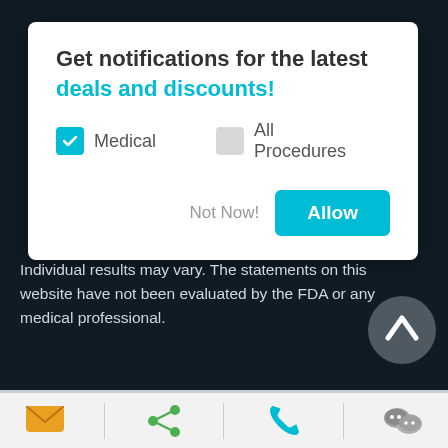[Figure (screenshot): Modal dialog popup with notification opt-in for deals and discounts. Shows 'Get notifications for the latest deals and discounts!' with Medical (checked) and All Procedures (unchecked) checkboxes, and Not Now / Allow buttons.]
Individual results may vary. The statements on this website have not been evaluated by the FDA or any medical professional.
HOME  PROCESS  FAQS  PRIVACY POLICY  TERMS & CONDITIONS  FINANCING  CONTACT US